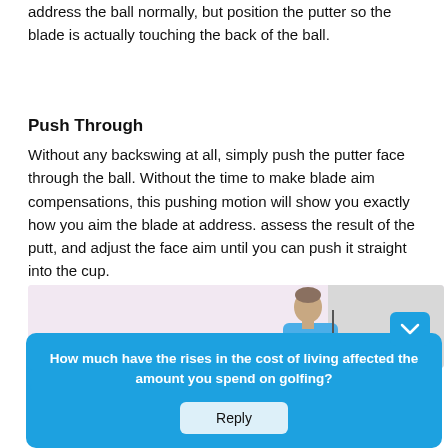Head to the practice green. Set up to a straight, short putt address the ball normally, but position the putter so the blade is actually touching the back of the ball.
Push Through
Without any backswing at all, simply push the putter face through the ball. Without the time to make blade aim compensations, this pushing motion will show you exactly how you aim the blade at address. assess the result of the putt, and adjust the face aim until you can push it straight into the cup.
[Figure (photo): A golfer bending over to putt on a practice green, shown from the waist up, wearing a blue shirt. A survey popup overlay is visible on the right portion of the image.]
How much have the rises in the cost of living affected the amount you spend on golfing?